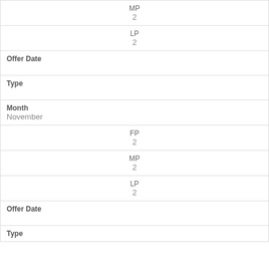| MP
2 |
| LP
2 |
| Offer Date |  |
| Type |  |
| Month
November |
| FP
2 |
| MP
2 |
| LP
2 |
| Offer Date |  |
| Type |  |